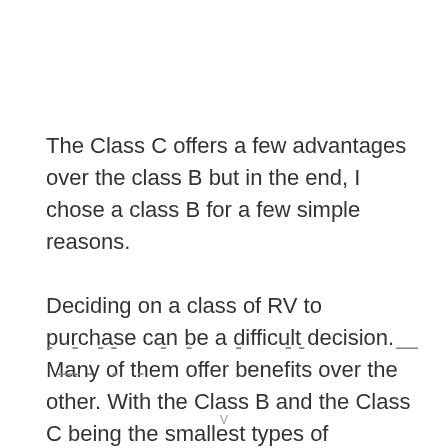The Class C offers a few advantages over the class B but in the end, I chose a class B for a few simple reasons.
Deciding on a class of RV to purchase can be a difficult decision. Many of them offer benefits over the other. With the Class B and the Class C being the smallest types of motorhomes, these two compare well to each other in many ways.